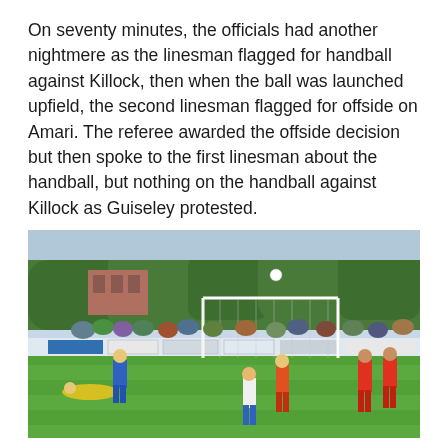On seventy minutes, the officials had another nightmere as the linesman flagged for handball against Killock, then when the ball was launched upfield, the second linesman flagged for offside on Amari. The referee awarded the offside decision but then spoke to the first linesman about the handball, but nothing on the handball against Killock as Guiseley protested.
[Figure (photo): Football match scene showing players near a goal. Players in blue/white and red/white kits. A goalkeeper in yellow is on the ground. Crowd watching from behind advertising hoardings. Green artificial pitch, trees in background.]